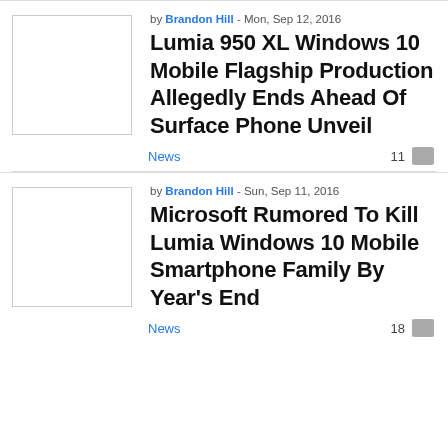by Brandon Hill - Mon, Sep 12, 2016
Lumia 950 XL Windows 10 Mobile Flagship Production Allegedly Ends Ahead Of Surface Phone Unveil
News  11
by Brandon Hill - Sun, Sep 11, 2016
Microsoft Rumored To Kill Lumia Windows 10 Mobile Smartphone Family By Year's End
News  18